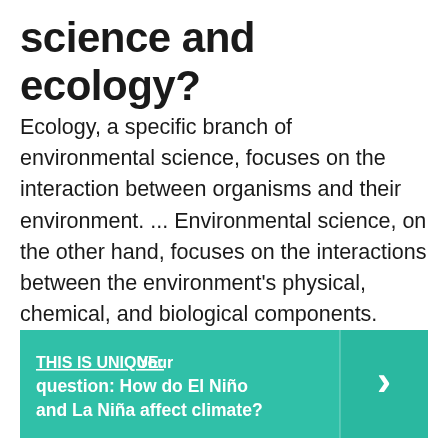science and ecology?
Ecology, a specific branch of environmental science, focuses on the interaction between organisms and their environment. ... Environmental science, on the other hand, focuses on the interactions between the environment's physical, chemical, and biological components.
[Figure (infographic): Teal/green promotional banner with text: THIS IS UNIQUE: Your question: How do El Niño and La Niña affect climate? with a right-pointing chevron arrow on the right side.]
Which type of environmental scientist is likely to study methods of